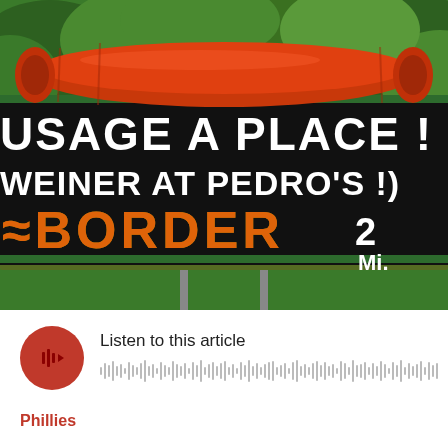[Figure (photo): A roadside billboard sign with a large 3D red sausage/hot dog mounted on top. The black sign reads 'USAGE A PLACE!' and 'WEINER AT PEDRO'S!)' in white text, with 'BORDER' in decorative yellow and red letters, and '2 Mi.' in white. Green trees visible in background.]
[Figure (other): Audio player widget with a red circular play button icon (showing audio waveform/speaker icon) on the left, text 'Listen to this article' above a grey audio waveform visualization bar.]
Phillies